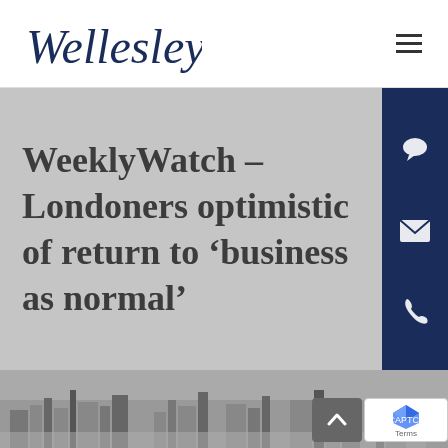[Figure (logo): Wellesley logo in cursive navy script]
WeeklyWatch – Londoners optimistic of return to 'business as normal'
[Figure (photo): Black and white panoramic skyline photograph of London]